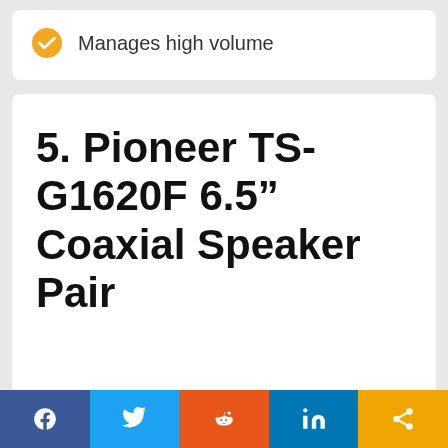Manages high volume
5. Pioneer TS-G1620F 6.5” Coaxial Speaker Pair
[Figure (infographic): Social share bar with Facebook, Twitter, Reddit, LinkedIn, and share buttons]